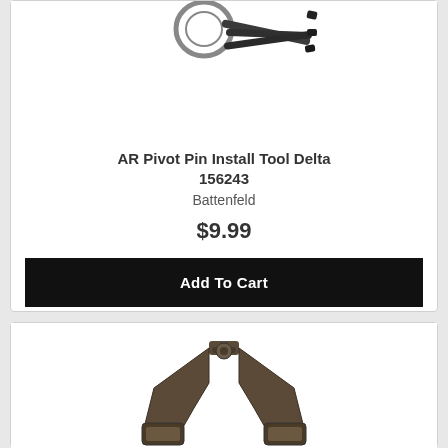[Figure (photo): AR Pivot Pin Install Tool Delta product photo showing a dark metal tool with ring and rods on white background]
AR Pivot Pin Install Tool Delta 156243
Battenfeld
$9.99
Add To Cart
[Figure (photo): Second product photo showing a dark brown/black clamp or vise-like tool on white background]